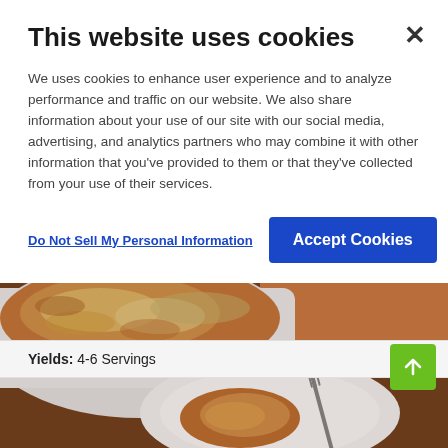This website uses cookies
We uses cookies to enhance user experience and to analyze performance and traffic on our website. We also share information about your use of our site with our social media, advertising, and analytics partners who may combine it with other information that you've provided to them or that they've collected from your use of their services.
Do Not Sell My Personal Information
Accept Cookies
Yields: 4-6 Servings
[Figure (photo): A baked pasta dish in a white casserole dish with melted cheese on top, served on a white plate with a fork, placed on a wooden table with an orange napkin.]